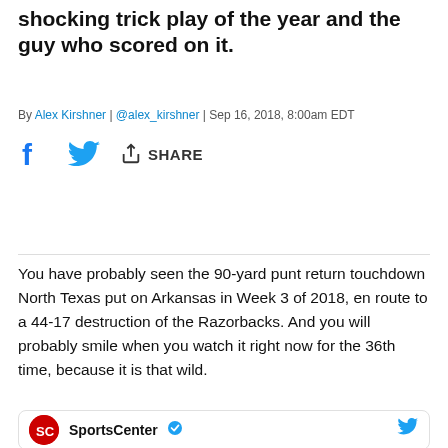Love talk to the guy who drew up the most shocking trick play of the year and the guy who scored on it.
By Alex Kirshner | @alex_kirshner | Sep 16, 2018, 8:00am EDT
[Figure (infographic): Social share bar with Facebook icon, Twitter bird icon, and a share button with arrow icon and SHARE text]
You have probably seen the 90-yard punt return touchdown North Texas put on Arkansas in Week 3 of 2018, en route to a 44-17 destruction of the Razorbacks. And you will probably smile when you watch it right now for the 36th time, because it is that wild.
[Figure (screenshot): SportsCenter embed card with red circular logo, SportsCenter name with blue verified checkmark, and Twitter bird icon on the right]